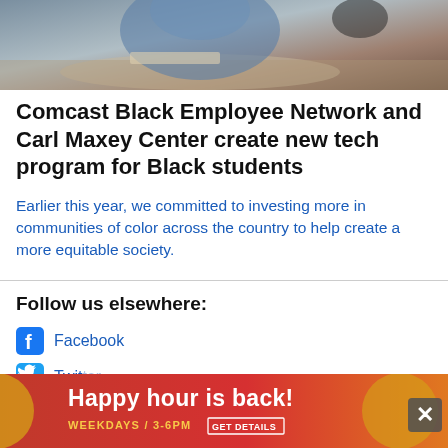[Figure (photo): Person working at a desk with a laptop, wearing a blue shirt, headphones visible in background]
Comcast Black Employee Network and Carl Maxey Center create new tech program for Black students
Earlier this year, we committed to investing more in communities of color across the country to help create a more equitable society.
Follow us elsewhere:
Facebook
Twitter
Newsletter
[Figure (infographic): Advertisement banner: Happy hour is back! Weekdays / 3-6PM GET DETAILS, with orange/red background and decorative circles]